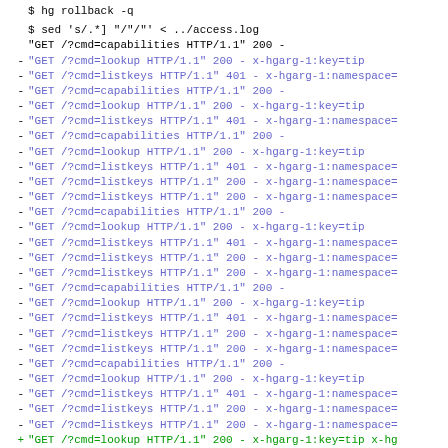$ hg rollback -q
$ sed 's/.*] "/"/'' < ../access.log
"GET /?cmd=capabilities HTTP/1.1" 200 -
- "GET /?cmd=lookup HTTP/1.1" 200 - x-hgarg-1:key=tip
- "GET /?cmd=listkeys HTTP/1.1" 401 - x-hgarg-1:namespace=
- "GET /?cmd=capabilities HTTP/1.1" 200 -
- "GET /?cmd=lookup HTTP/1.1" 200 - x-hgarg-1:key=tip
- "GET /?cmd=listkeys HTTP/1.1" 401 - x-hgarg-1:namespace=
- "GET /?cmd=capabilities HTTP/1.1" 200 -
- "GET /?cmd=lookup HTTP/1.1" 200 - x-hgarg-1:key=tip
- "GET /?cmd=listkeys HTTP/1.1" 401 - x-hgarg-1:namespace=
- "GET /?cmd=listkeys HTTP/1.1" 200 - x-hgarg-1:namespace=
- "GET /?cmd=listkeys HTTP/1.1" 200 - x-hgarg-1:namespace=
- "GET /?cmd=capabilities HTTP/1.1" 200 -
- "GET /?cmd=lookup HTTP/1.1" 200 - x-hgarg-1:key=tip
- "GET /?cmd=listkeys HTTP/1.1" 401 - x-hgarg-1:namespace=
- "GET /?cmd=listkeys HTTP/1.1" 200 - x-hgarg-1:namespace=
- "GET /?cmd=listkeys HTTP/1.1" 200 - x-hgarg-1:namespace=
- "GET /?cmd=capabilities HTTP/1.1" 200 -
- "GET /?cmd=lookup HTTP/1.1" 200 - x-hgarg-1:key=tip
- "GET /?cmd=listkeys HTTP/1.1" 401 - x-hgarg-1:namespace=
- "GET /?cmd=listkeys HTTP/1.1" 200 - x-hgarg-1:namespace=
- "GET /?cmd=listkeys HTTP/1.1" 200 - x-hgarg-1:namespace=
- "GET /?cmd=capabilities HTTP/1.1" 200 -
- "GET /?cmd=lookup HTTP/1.1" 200 - x-hgarg-1:key=tip
- "GET /?cmd=listkeys HTTP/1.1" 401 - x-hgarg-1:namespace=
- "GET /?cmd=listkeys HTTP/1.1" 200 - x-hgarg-1:namespace=
- "GET /?cmd=listkeys HTTP/1.1" 200 - x-hgarg-1:namespace=
+ "GET /?cmd=lookup HTTP/1.1" 200 - x-hgarg-1:key=tip x-hg
+ "GET /?cmd=listkeys HTTP/1.1" 401 - x-hgarg-1:namespace=
"GET /?cmd=capabilities HTTP/1.1" 200 -
"GET /?cmd=lookup HTTP/1.1" 200 - x-hgarg-1:...